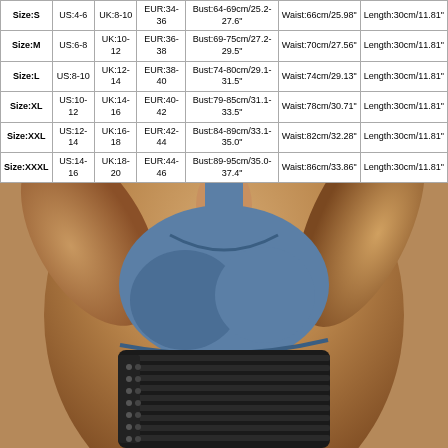| Size | US | UK | EUR | Bust | Waist | Length |
| --- | --- | --- | --- | --- | --- | --- |
| Size:S | US:4-6 | UK:8-10 | EUR:34-36 | Bust:64-69cm/25.2-27.6" | Waist:66cm/25.98" | Length:30cm/11.81" |
| Size:M | US:6-8 | UK:10-12 | EUR:36-38 | Bust:69-75cm/27.2-29.5" | Waist:70cm/27.56" | Length:30cm/11.81" |
| Size:L | US:8-10 | UK:12-14 | EUR:38-40 | Bust:74-80cm/29.1-31.5" | Waist:74cm/29.13" | Length:30cm/11.81" |
| Size:XL | US:10-12 | UK:14-16 | EUR:40-42 | Bust:79-85cm/31.1-33.5" | Waist:78cm/30.71" | Length:30cm/11.81" |
| Size:XXL | US:12-14 | UK:16-18 | EUR:42-44 | Bust:84-89cm/33.1-35.0" | Waist:82cm/32.28" | Length:30cm/11.81" |
| Size:XXXL | US:14-16 | UK:18-20 | EUR:44-46 | Bust:89-95cm/35.0-37.4" | Waist:86cm/33.86" | Length:30cm/11.81" |
[Figure (photo): Woman wearing a blue sports top and black waist trainer/corset, arms raised above head, showing the garment being modeled]